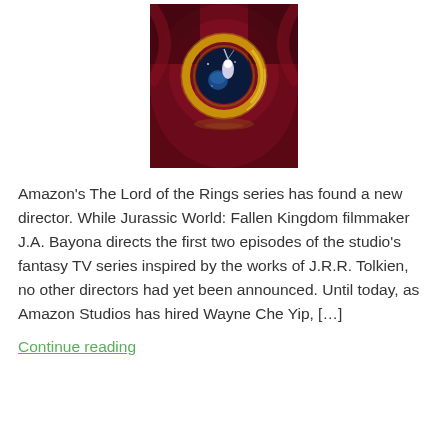[Figure (photo): Photo of the One Ring from Lord of the Rings against a dark red/crimson background. The golden ring with glowing interior showing a fantasy scene is centered in the image.]
Amazon's The Lord of the Rings series has found a new director. While Jurassic World: Fallen Kingdom filmmaker J.A. Bayona directs the first two episodes of the studio's fantasy TV series inspired by the works of J.R.R. Tolkien, no other directors had yet been announced. Until today, as Amazon Studios has hired Wayne Che Yip, […]
Continue reading